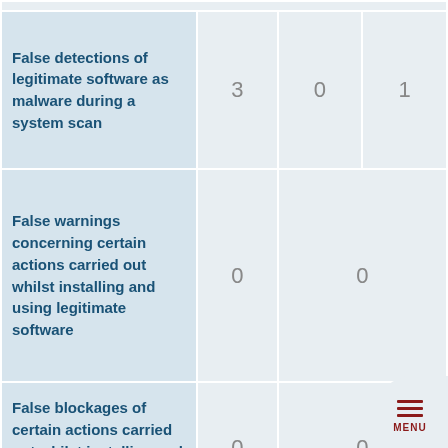| False detections of legitimate software as malware during a system scan | 3 | 0 | 1 |
| False warnings concerning certain actions carried out whilst installing and using legitimate software | 0 | 0 |  |
| False blockages of certain actions carried out whilst installing and using legitimate software | 0 | 0 |  |